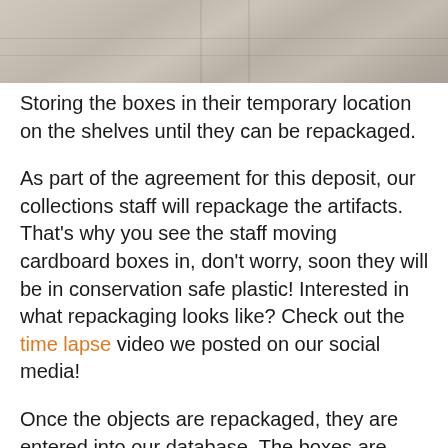[Figure (photo): Photograph of metal shelves in a storage/archive area, showing a partial view of shelving units.]
Storing the boxes in their temporary location on the shelves until they can be repackaged.
As part of the agreement for this deposit, our collections staff will repackage the artifacts. That's why you see the staff moving cardboard boxes in, don't worry, soon they will be in conservation safe plastic! Interested in what repackaging looks like? Check out the time lapse video we posted on our social media!
Once the objects are repackaged, they are entered into our database. The boxes are labelled by site